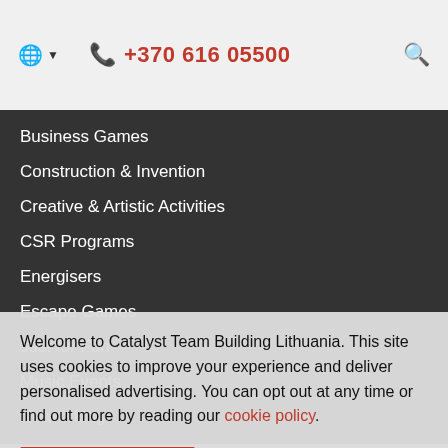+370 616 05500
Business Games
Construction & Invention
Creative & Artistic Activities
CSR Programs
Energisers
Escape Games
Just for Fun
Music Events
Networking
Welcome to Catalyst Team Building Lithuania. This site uses cookies to improve your experience and deliver personalised advertising. You can opt out at any time or find out more by reading our cookie policy.
I Understand